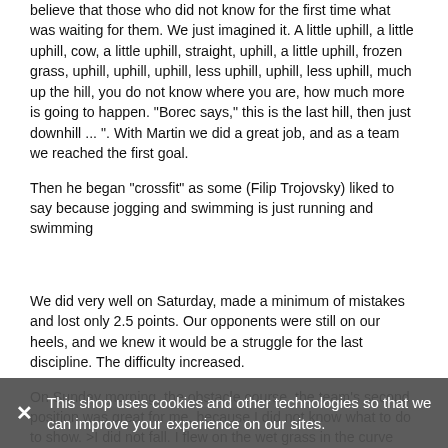believe that those who did not know for the first time what was waiting for them. We just imagined it. A little uphill, a little uphill, cow, a little uphill, straight, uphill, a little uphill, frozen grass, uphill, uphill, uphill, less uphill, uphill, less uphill, much up the hill, you do not know where you are, how much more is going to happen. "Borec says," this is the last hill, then just downhill ... ". With Martin we did a great job, and as a team we reached the first goal.
Then he began "crossfit" as some (Filip Trojovsky) liked to say because jogging and swimming is just running and swimming
We did very well on Saturday, made a minimum of mistakes and lost only 2.5 points. Our opponents were still on our heels, and we knew it would be a struggle for the last discipline. The difficulty increased.
On Sunday morning, the obstacle course, the team's second position was great for me, because I did not know what to do to show. >I did not fall. I flew on the wet grass in the curve and skated a little on the wet log.Martias had long been looking for me from the target :-)
Then it came, a stack of synchronized work and a pool of winners... muscle ups quite... not so fast. All u once...
This shop uses cookies and other technologies so that we can improve your experience on our sites.